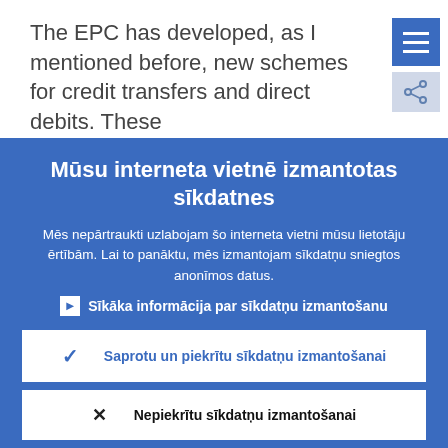The EPC has developed, as I mentioned before, new schemes for credit transfers and direct debits. These
Mūsu interneta vietnē izmantotas sīkdatnes
Mēs nepārtraukti uzlabojam šo interneta vietni mūsu lietotāju ērtībām. Lai to panāktu, mēs izmantojam sīkdatņu sniegtos anonīmos datus.
Sīkāka informācija par sīkdatņu izmantošanu
Saprotu un piekrītu sīkdatņu izmantošanai
Nepiekrītu sīkdatņu izmantošanai